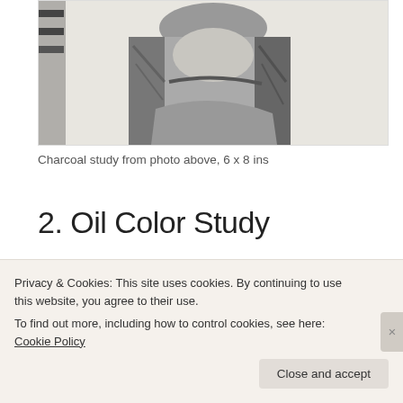[Figure (photo): Charcoal sketch of a person (figure study), grayscale tones on white paper, partial view]
Charcoal study from photo above, 6 x 8 ins
2. Oil Color Study
[Figure (photo): Oil color study painting showing the top of a figure's head with dark brown hair against a warm tan/ochre background]
Privacy & Cookies: This site uses cookies. By continuing to use this website, you agree to their use.
To find out more, including how to control cookies, see here: Cookie Policy
Close and accept